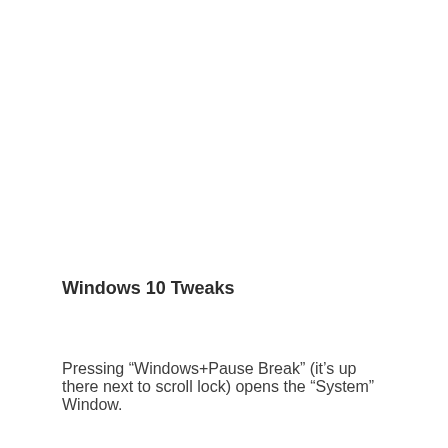Windows 10 Tweaks
Pressing “Windows+Pause Break” (it’s up there next to scroll lock) opens the “System” Window.